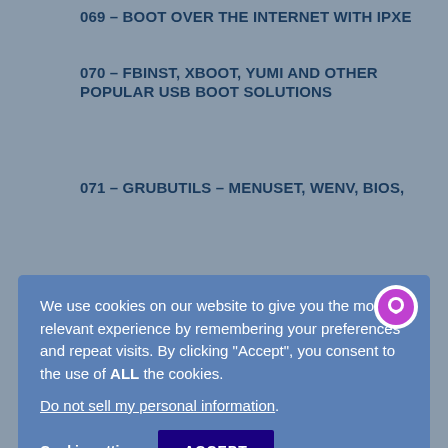069 – BOOT OVER THE INTERNET WITH IPXE
070 – FBINST, XBOOT, YUMI AND OTHER POPULAR USB BOOT SOLUTIONS
071 – GRUBUTILS – MENUSET, WENV, BIOS,
[Figure (screenshot): Cookie consent overlay with blue background. Text reads: 'We use cookies on our website to give you the most relevant experience by remembering your preferences and repeat visits. By clicking "Accept", you consent to the use of ALL the cookies.' Link: 'Do not sell my personal information.' Buttons: 'Cookie settings' and 'ACCEPT'. Purple chat bubble icon in top right corner.]
FROM ISO OR FLAT FILE STRUCTURE
075 – TEST YOUR MEMORY (RAM/DIMMS)
076 – QUICKLY SETUP PXE BOOTING TO INSTALL ANY WINDOWS OS OR PXE BOOT LINUX, ETC.